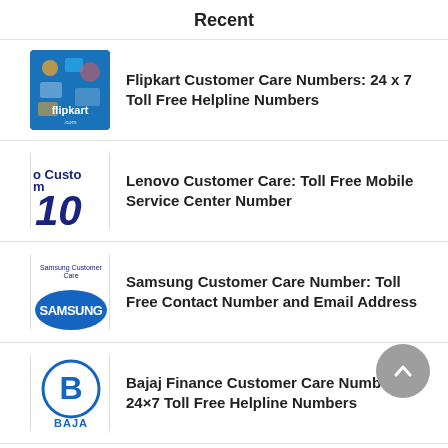Recent
Flipkart Customer Care Numbers: 24 x 7 Toll Free Helpline Numbers
Lenovo Customer Care: Toll Free Mobile Service Center Number
Samsung Customer Care Number: Toll Free Contact Number and Email Address
Bajaj Finance Customer Care Number: 24×7 Toll Free Helpline Numbers
Sky Sales Contact Number: Toll Free Ch…